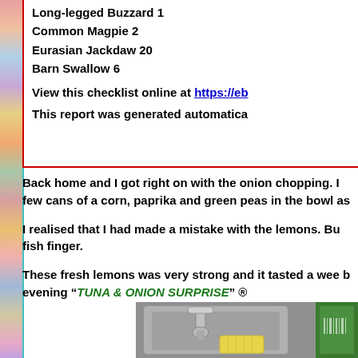Long-legged Buzzard 1
Common Magpie 2
Eurasian Jackdaw 20
Barn Swallow 6
View this checklist online at https://eb...
This report was generated automatica...
Back home and I got right on with the onion chopping. I... few cans of a corn, paprika and green peas in the bowl as...
I realised that I had made a mistake with the lemons. Bu... fish finger.
These fresh lemons was very strong and it tasted a wee b... evening “TUNA & ONION SURPRISE” ®
[Figure (photo): Close-up photo of a kitchen sink with a metallic tap/faucet, a yellow sponge, and green packaging visible on the right side.]